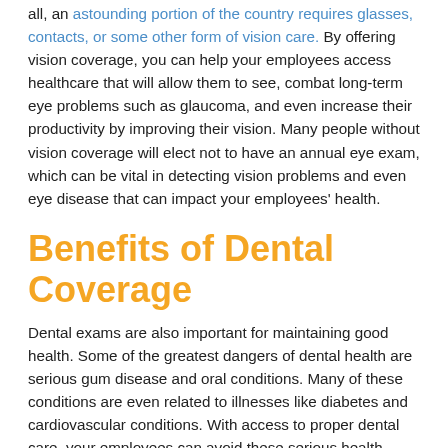all, an astounding portion of the country requires glasses, contacts, or some other form of vision care. By offering vision coverage, you can help your employees access healthcare that will allow them to see, combat long-term eye problems such as glaucoma, and even increase their productivity by improving their vision. Many people without vision coverage will elect not to have an annual eye exam, which can be vital in detecting vision problems and even eye disease that can impact your employees' health.
Benefits of Dental Coverage
Dental exams are also important for maintaining good health. Some of the greatest dangers of dental health are serious gum disease and oral conditions. Many of these conditions are even related to illnesses like diabetes and cardiovascular conditions. With access to proper dental care, your employees can avoid these serious health problems and maintain good oral health. Plus, dental disease causes employees to miss many hours of work each year for oral surgery and recovery. You can prevent this loss of time by offering dental coverage that will allow employees to properly maintain their oral health.